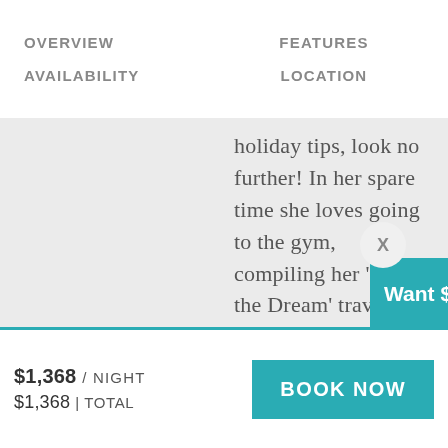OVERVIEW    FEATURES
AVAILABILITY    LOCATION
holiday tips, look no further! In her spare time she loves going to the gym, compiling her 'Living the Dream' travel blog and enjoying fine wines!
[Figure (illustration): Green circular chat/message icon button]
[Figure (infographic): Gray dismiss circle with X and teal promo banner reading 'Want $50 off your booking?']
$1,368 / NIGHT
$1,368 | TOTAL
[Figure (other): BOOK NOW button in teal]